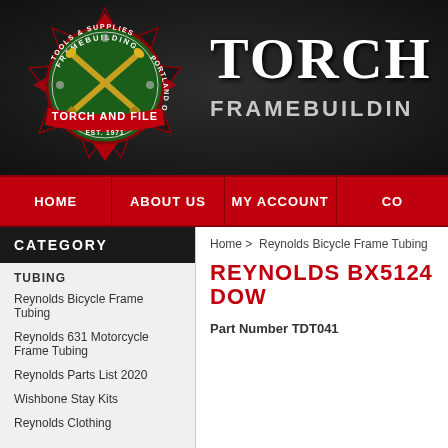[Figure (logo): Torch and File framebuilding tools and supplies Portland OR est. 1971 circular badge logo with crossed torches]
TORCH A... FRAMEBUILDIN...
HOME | ABOUT US | MY ACCOUNT | CO...
CATEGORY
TUBING
Reynolds Bicycle Frame Tubing
Reynolds 631 Motorcycle Frame Tubing
Reynolds Parts List 2020
Wishbone Stay Kits
Reynolds Clothing
Home > Reynolds Bicycle Frame Tubing
REYNOLDS BX5124 DOW...
Part Number TDT041